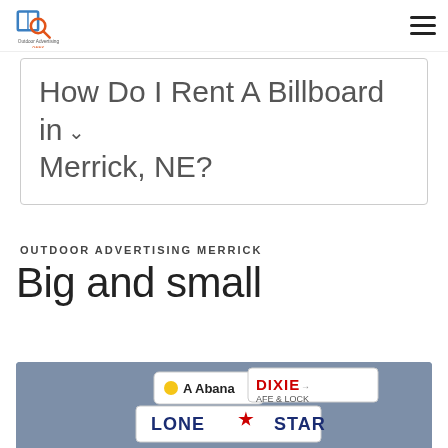Outdoor Advertising Geek logo and navigation
How Do I Rent A Billboard in Merrick, NE?
OUTDOOR ADVERTISING MERRICK
Big and small
[Figure (photo): Partial view of outdoor advertising signs on a blue-grey background, showing signs for A Abana, LONE STAR, DIXIE SAFE & LOCK]